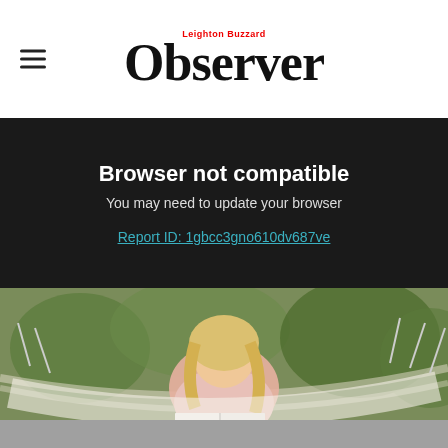Leighton Buzzard Observer
Browser not compatible
You may need to update your browser
Report ID: 1gbcc3gno610dv687ve
[Figure (photo): Woman with blonde hair reading a book while relaxing in a white hammock outdoors, with green trees in the background. Media player controls visible at bottom. Partial text 'ion' visible in bottom-left corner.]